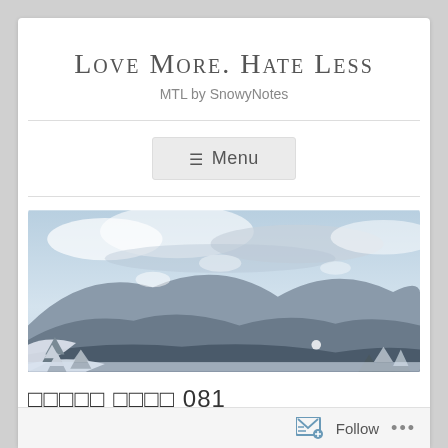Love More. Hate Less
MTL by SnowyNotes
≡ Menu
[Figure (photo): Winter mountain landscape panorama with snow-covered evergreen trees in the foreground, rolling mountain ridges in the background, and a partly cloudy sky.]
□□□□□ □□□□ 081
Follow ...